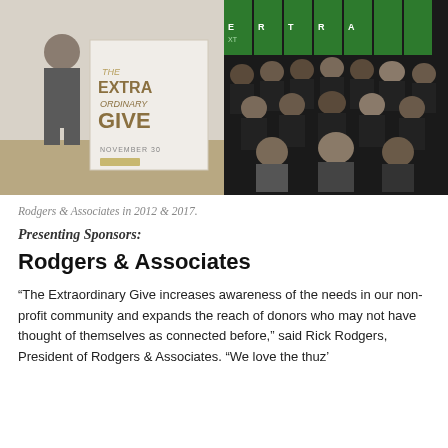[Figure (photo): Left photo: Person standing next to a sign reading 'THE EXTRAORDINARY GIVE NOVEMBER 30' at Rodgers & Associates in 2012]
[Figure (photo): Right photo: Large group of people in black t-shirts with green Extraordinary Give branding, Rodgers & Associates in 2017]
Rodgers & Associates in 2012 & 2017
Presenting Sponsors:
Rodgers & Associates
“The Extraordinary Give increases awareness of the needs in our non-profit community and expands the reach of donors who may not have thought of themselves as connected before,” said Rick Rodgers, President of Rodgers & Associates. “We love the thuz’